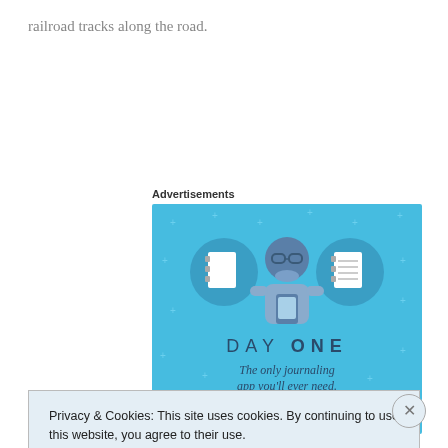railroad tracks along the road.
Advertisements
[Figure (illustration): Day One journaling app advertisement. Blue background with illustrated character holding a phone, flanked by two circular icons showing notebooks/journals. Text reads 'DAY ONE - The only journaling app you'll ever need.']
Privacy & Cookies: This site uses cookies. By continuing to use this website, you agree to their use.
To find out more, including how to control cookies, see here: Cookie Policy